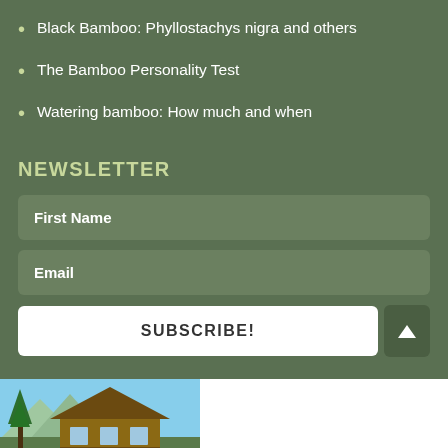Black Bamboo: Phyllostachys nigra and others
The Bamboo Personality Test
Watering bamboo: How much and when
NEWSLETTER
First Name
Email
SUBSCRIBE!
[Figure (photo): Advertisement for Vrbo vacation home rentals showing a large wooden cabin house with mountains and trees in background. Text reads VACATION HOMES FOR WHOEVER YOU CALL FAMILY with a BOOK NOW button.]